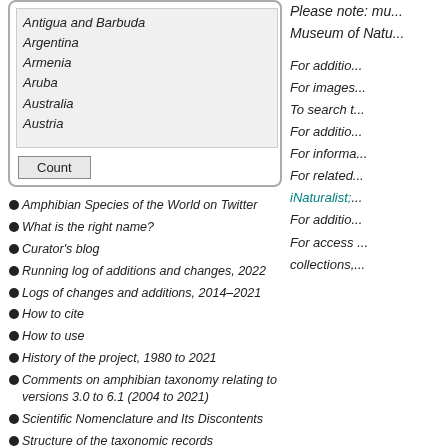[Figure (screenshot): A listbox UI widget showing a list of countries (Antigua and Barbuda, Argentina, Armenia, Aruba, Australia, Austria) with a Count button below, all inside a rounded-corner bordered container.]
Amphibian Species of the World on Twitter
What is the right name?
Curator's blog
Running log of additions and changes, 2022
Logs of changes and additions, 2014–2021
How to cite
How to use
History of the project, 1980 to 2021
Comments on amphibian taxonomy relating to versions 3.0 to 6.1 (2004 to 2021)
Scientific Nomenclature and Its Discontents
Structure of the taxonomic records
Please note: mu... Museum of Natu...
For additio...
For images...
To search t...
For additio...
For informa...
For related...
iNaturalist;...
For additio...
For access...
collections,...